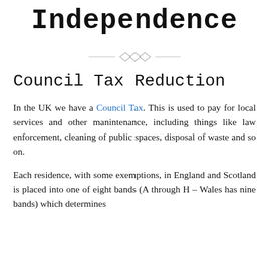Independence
[Figure (illustration): Decorative ornament: three interlocking diamond shapes with horizontal lines on either side, in light grey.]
Council Tax Reduction
In the UK we have a Council Tax. This is used to pay for local services and other manintenance, including things like law enforcement, cleaning of public spaces, disposal of waste and so on.
Each residence, with some exemptions, in England and Scotland is placed into one of eight bands (A through H – Wales has nine bands) which determines